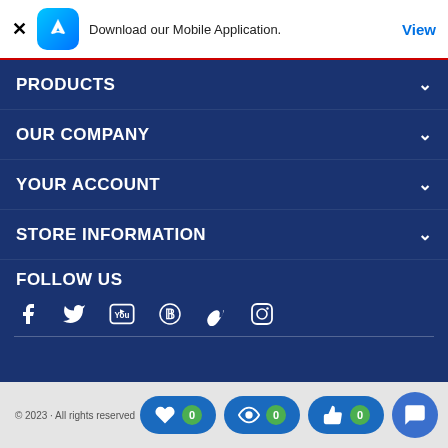[Figure (screenshot): Mobile app download banner with App Store icon, close button (X), text 'Download our Mobile Application.' and blue 'View' link]
PRODUCTS
OUR COMPANY
YOUR ACCOUNT
STORE INFORMATION
FOLLOW US
[Figure (infographic): Social media icons: Facebook, Twitter, YouTube, Pinterest, Vimeo, Instagram]
© 2023 · All rights reserved · Footer copyright text · Action buttons: wishlist (0), recently viewed (0), compare (0), chat